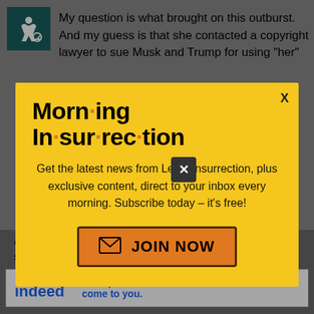My question is what brought on this outburst. And my guess is that she contacted a copyright lawyer to sue Musk and Trump for using "her"
[Figure (infographic): Morning Insurrection newsletter subscription modal popup with yellow background, bold title 'Morn·ing In·sur·rec·tion', subscription text, and orange JOIN NOW button]
as Andrew Wacht...kis the biolog... sex that his form...ame impli...s, he's
[Figure (other): Indeed advertisement banner: 'Let top talent come to you.']